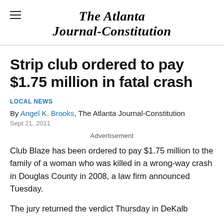The Atlanta Journal-Constitution
Strip club ordered to pay $1.75 million in fatal crash
LOCAL NEWS
By Angel K. Brooks, The Atlanta Journal-Constitution
Sept 21, 2011
Advertisement
Club Blaze has been ordered to pay $1.75 million to the family of a woman who was killed in a wrong-way crash in Douglas County in 2008, a law firm announced Tuesday.
The jury returned the verdict Thursday in DeKalb